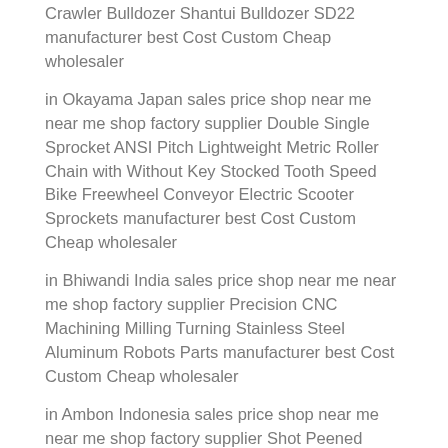Crawler Bulldozer Shantui Bulldozer SD22 manufacturer best Cost Custom Cheap wholesaler
in Okayama Japan sales price shop near me near me shop factory supplier Double Single Sprocket ANSI Pitch Lightweight Metric Roller Chain with Without Key Stocked Tooth Speed Bike Freewheel Conveyor Electric Scooter Sprockets manufacturer best Cost Custom Cheap wholesaler
in Bhiwandi India sales price shop near me near me shop factory supplier Precision CNC Machining Milling Turning Stainless Steel Aluminum Robots Parts manufacturer best Cost Custom Cheap wholesaler
in Ambon Indonesia sales price shop near me near me shop factory supplier Shot Peened Sliding Gate Gear Racks manufacturer best Cost Custom Cheap wholesaler
in Kamembe Rwanda sales price shop near me near me shop factory supplier…